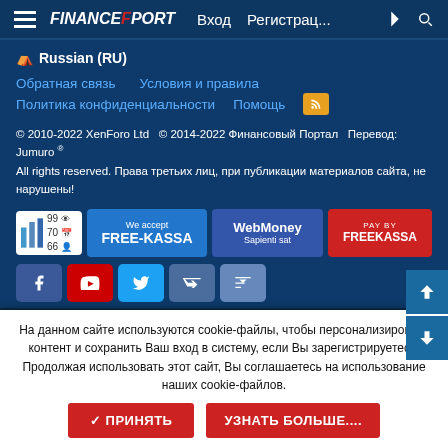FinancePort — Вход   Регистрац...
⊕ Russian (RU)
Обратная связь
Условия и правила
Политика конфиденциальности
Помощь
© 2010-2022 XenForo Ltd  © 2014-2022 Финансовый Портал  Перевод: Jumuro ®
All rights reserved. Права третьих лиц, при публикации материалов сайта, не нарушены!
[Figure (infographic): Stats badge, FREE-KASSA badge, WebMoney badge, PAY BY FREEKASSA badge]
[Figure (infographic): Social media icons: Facebook, YouTube, Twitter, VK, VK]
На данном сайте используются cookie-файлы, чтобы персонализировать контент и сохранить Ваш вход в систему, если Вы зарегистрируетесь.
Продолжая использовать этот сайт, Вы соглашаетесь на использование наших cookie-файлов.
✓ ПРИНЯТЬ   УЗНАТЬ БОЛЬШЕ....